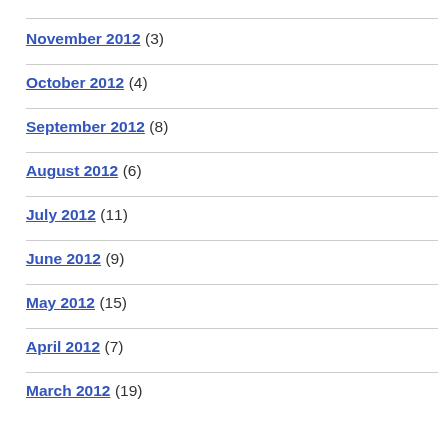November 2012 (3)
October 2012 (4)
September 2012 (8)
August 2012 (6)
July 2012 (11)
June 2012 (9)
May 2012 (15)
April 2012 (7)
March 2012 (19)